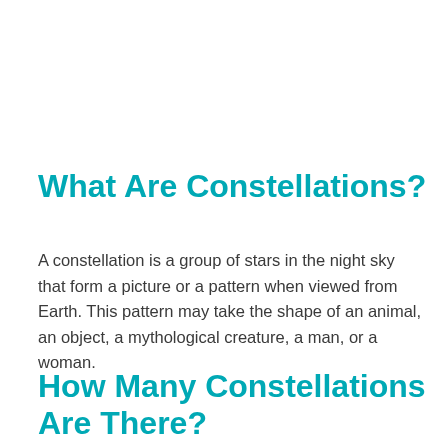What Are Constellations?
A constellation is a group of stars in the night sky that form a picture or a pattern when viewed from Earth. This pattern may take the shape of an animal, an object, a mythological creature, a man, or a woman.
How Many Constellations Are There?